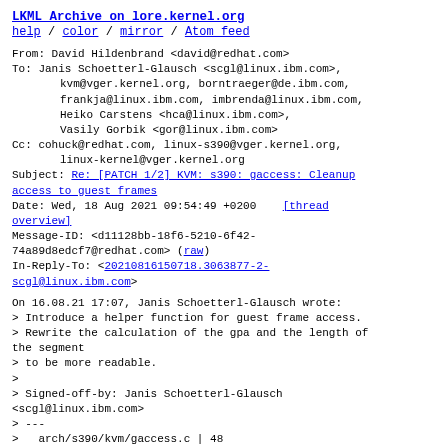LKML Archive on lore.kernel.org
help / color / mirror / Atom feed
From: David Hildenbrand <david@redhat.com>
To: Janis Schoetterl-Glausch <scgl@linux.ibm.com>,
        kvm@vger.kernel.org, borntraeger@de.ibm.com,
        frankja@linux.ibm.com, imbrenda@linux.ibm.com,
        Heiko Carstens <hca@linux.ibm.com>,
        Vasily Gorbik <gor@linux.ibm.com>
Cc: cohuck@redhat.com, linux-s390@vger.kernel.org,
        linux-kernel@vger.kernel.org
Subject: Re: [PATCH 1/2] KVM: s390: gaccess: Cleanup access to guest frames
Date: Wed, 18 Aug 2021 09:54:49 +0200    [thread overview]
Message-ID: <d11128bb-18f6-5210-6f42-74a89d8edcf7@redhat.com> (raw)
In-Reply-To: <20210816150718.3063877-2-scgl@linux.ibm.com>
On 16.08.21 17:07, Janis Schoetterl-Glausch wrote:
> Introduce a helper function for guest frame access.
> Rewrite the calculation of the gpa and the length of the segment
> to be more readable.
>
> Signed-off-by: Janis Schoetterl-Glausch
<scgl@linux.ibm.com>
> ---
>   arch/s390/kvm/gaccess.c | 48